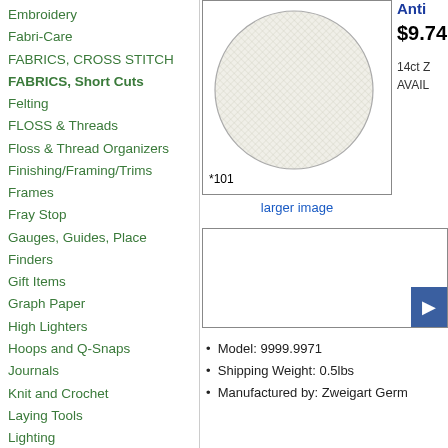Embroidery
Fabri-Care
FABRICS, CROSS STITCH
FABRICS, Short Cuts
Felting
FLOSS & Threads
Floss & Thread Organizers
Finishing/Framing/Trims
Frames
Fray Stop
Gauges, Guides, Place Finders
Gift Items
Graph Paper
High Lighters
Hoops and Q-Snaps
Journals
Knit and Crochet
Laying Tools
Lighting
Lotion for Stitchers
Magnet Boards/Chart Holders
Magnifiers
[Figure (photo): Circular fabric swatch on white background with label *101]
larger image
Anti
$9.74
14ct Z
AVAIL
Model: 9999.9971
Shipping Weight: 0.5lbs
Manufactured by: Zweigart Germ